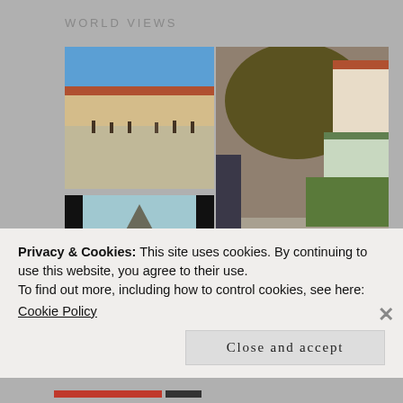WORLD VIEWS
[Figure (photo): Grid of travel photos: top-left shows a courtyard with a long building with red roof and people walking; bottom-left shows a green volcanic landscape with a small hut; right side shows a large outdoor garden area with a white peacock walking on sandy ground, trees, and a greenhouse structure in background.]
Privacy & Cookies: This site uses cookies. By continuing to use this website, you agree to their use.
To find out more, including how to control cookies, see here:
Cookie Policy
Close and accept